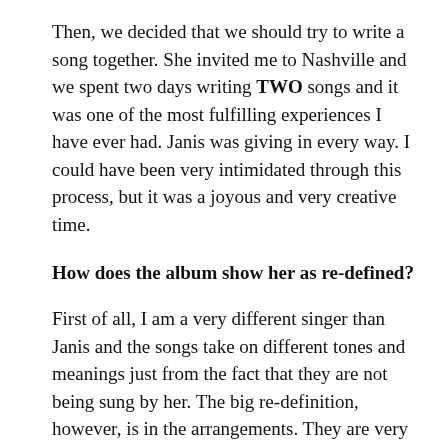Then, we decided that we should try to write a song together. She invited me to Nashville and we spent two days writing TWO songs and it was one of the most fulfilling experiences I have ever had. Janis was giving in every way. I could have been very intimidated through this process, but it was a joyous and very creative time.
How does the album show her as re-defined?
First of all, I am a very different singer than Janis and the songs take on different tones and meanings just from the fact that they are not being sung by her. The big re-definition, however, is in the arrangements. They are very rooted in jazz but hopefully make sense.